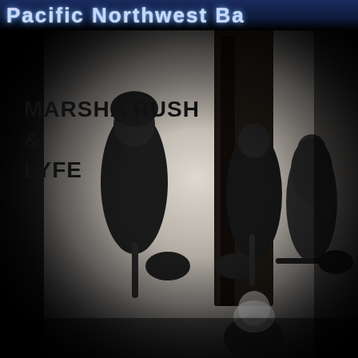Pacific Northwest Ba
[Figure (photo): Black and white promotional photo of the band Marsha Rush & Lyfe. Four band members are visible standing/sitting near a tall dark monolith structure outdoors. Three members hold guitars. Left: tall male with beard and guitar. Center: male in dark jacket with guitar. Right: female with long hair and guitar. Bottom center: blonde female sitting. The image has a vignette effect with lighter center fading to dark edges.]
MARSHA RUSH
&
LYFE